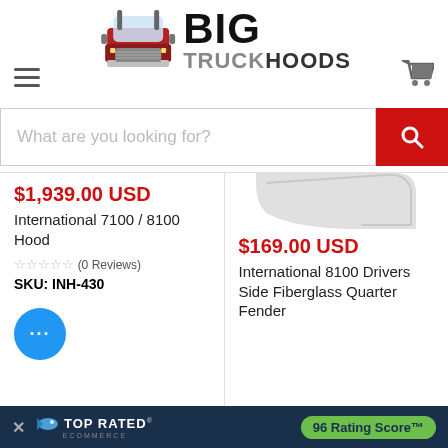[Figure (logo): Big Truck Hoods logo with red semi-truck illustration and bold text BIG TRUCKHOODS]
[Figure (other): Hamburger menu icon (three horizontal lines) on left side of header]
[Figure (other): Shopping cart icon on right side of header]
What are you looking for?
$1,939.00 USD
International 7100 / 8100 Hood
☆☆☆☆☆ (0 Reviews)
SKU: INH-430
[Figure (photo): Partial product image of white fiberglass quarter fender at top right]
$169.00 USD
International 8100 Drivers Side Fiberglass Quarter Fender
TOP RATED ECOMMERCE  96 Rating Score™
[Figure (other): Blue circular chat bubble button with three dots]